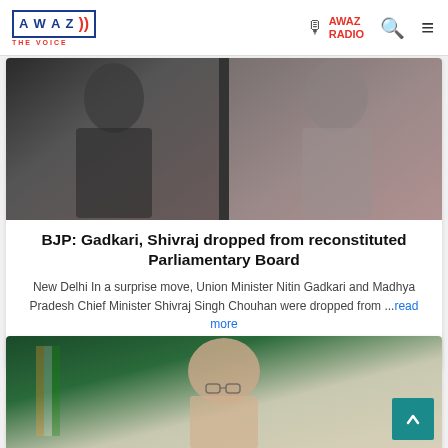AWAZ THE VOICE — AWAZ RADIO
[Figure (photo): Two men photographed in dark/dim lighting, likely politicians]
BJP: Gadkari, Shivraj dropped from reconstituted Parliamentary Board
New Delhi In a surprise move, Union Minister Nitin Gadkari and Madhya Pradesh Chief Minister Shivraj Singh Chouhan were dropped from ...read more
17-08-2022 15:27:30
[Figure (photo): A bald man in suit, likely a politician, with Indian flag visible in background]